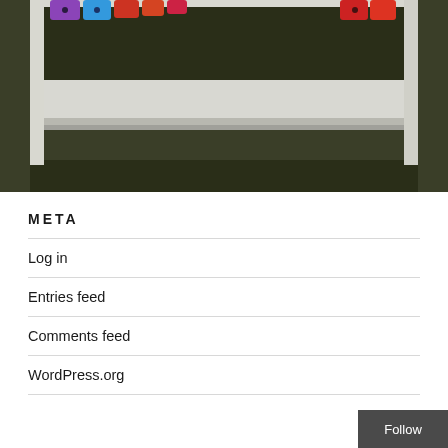[Figure (photo): Partial photo of colorful magnetic letters/puzzle pieces on a white window sill, showing the frame and sill area with dark background below]
META
Log in
Entries feed
Comments feed
WordPress.org